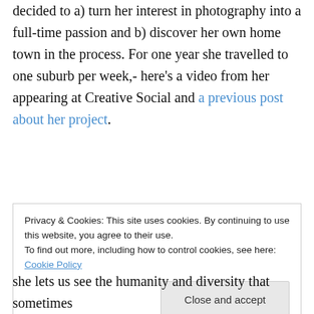decided to a) turn her interest in photography into a full-time passion and b) discover her own home town in the process. For one year she travelled to one suburb per week,- here's a video from her appearing at Creative Social and a previous post about her project.
Privacy & Cookies: This site uses cookies. By continuing to use this website, you agree to their use. To find out more, including how to control cookies, see here: Cookie Policy
she lets us see the humanity and diversity that sometimes